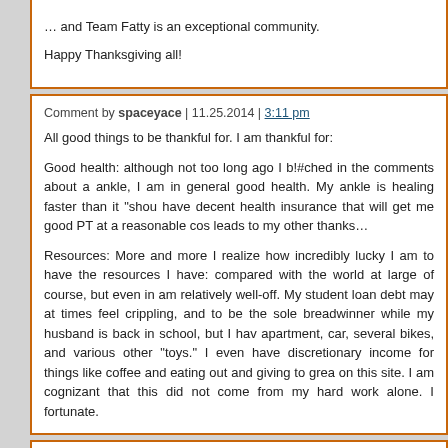… and Team Fatty is an exceptional community.
Happy Thanksgiving all!
Comment by spaceyace | 11.25.2014 | 3:11 pm
All good things to be thankful for. I am thankful for:
Good health: although not too long ago I b!#ched in the comments about a ankle, I am in general good health. My ankle is healing faster than it "shou have decent health insurance that will get me good PT at a reasonable cos leads to my other thanks…
Resources: More and more I realize how incredibly lucky I am to have the resources I have: compared with the world at large of course, but even in am relatively well-off. My student loan debt may at times feel crippling, and to be the sole breadwinner while my husband is back in school, but I hav apartment, car, several bikes, and various other "toys." I even have discretionary income for things like coffee and eating out and giving to grea on this site. I am cognizant that this did not come from my hard work alone. fortunate.
Comment by NZ Ev | 11.25.2014 | 3:28 pm
I am thankful to have found this blog and for Fatty bringing a smile to my f